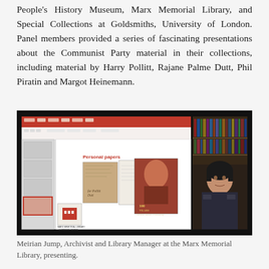People's History Museum, Marx Memorial Library, and Special Collections at Goldsmiths, University of London. Panel members provided a series of fascinating presentations about the Communist Party material in their collections, including material by Harry Pollitt, Rajane Palme Dutt, Phil Piratin and Margot Heinemann.
[Figure (screenshot): Screenshot of a video presentation showing a PowerPoint slide titled 'Personal papers' with archival documents and a Lenin poster, alongside a video feed of a woman presenter in front of bookshelves (Meirian Jump, Archivist and Library Manager at the Marx Memorial Library).]
Meirian Jump, Archivist and Library Manager at the Marx Memorial Library, presenting.
The afternoon session was devoted to a presentation by